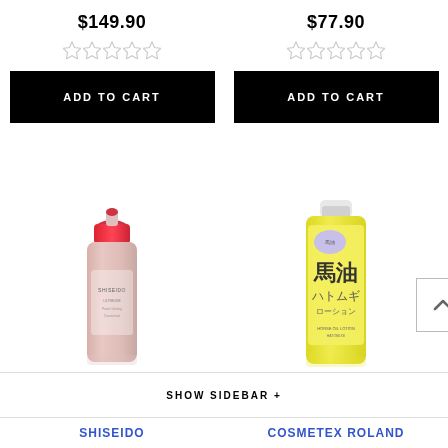$149.90
[Figure (other): Five empty star rating icons (light gray) for left product]
[Figure (other): ADD TO CART black button for left product]
$77.90
[Figure (other): Five empty star rating icons (light gray) for right product]
[Figure (other): ADD TO CART black button for right product]
[Figure (photo): Shiseido pump bottle with red cap, silver/pink body]
[Figure (photo): Japanese horse oil (馬油) bottle with yellow label and purple badge, white cap]
[Figure (other): Scroll up chevron button (square with upward arrow)]
SHOW SIDEBAR +
SHISEIDO
COSMETEX ROLAND